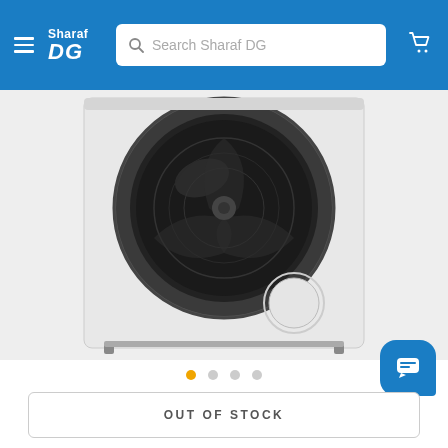Sharaf DG — Search Sharaf DG
[Figure (photo): Front-loading washing machine, white body with large black drum and circular door, shown against light grey background]
OUT OF STOCK